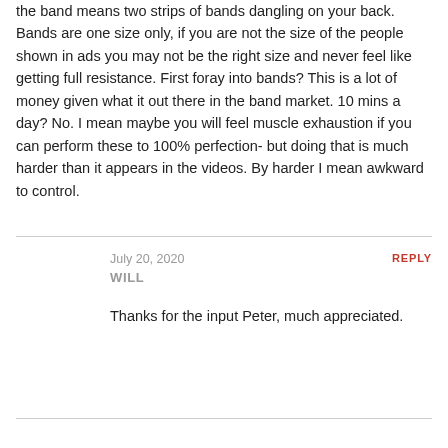the band means two strips of bands dangling on your back. Bands are one size only, if you are not the size of the people shown in ads you may not be the right size and never feel like getting full resistance. First foray into bands? This is a lot of money given what it out there in the band market. 10 mins a day? No. I mean maybe you will feel muscle exhaustion if you can perform these to 100% perfection- but doing that is much harder than it appears in the videos. By harder I mean awkward to control.
July 20, 2020
REPLY
WILL
Thanks for the input Peter, much appreciated.